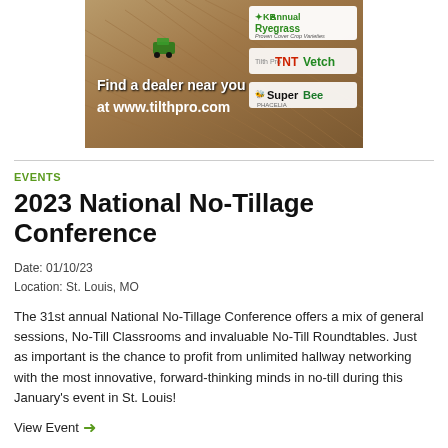[Figure (illustration): Advertisement banner for Tilth Pro products including KB Annual Ryegrass, TNT Vetch, and SuperBee Phacelia cover crop varieties. Shows aerial farm field image with text 'Find a dealer near you at www.tilthpro.com' and product logos.]
EVENTS
2023 National No-Tillage Conference
Date: 01/10/23
Location: St. Louis, MO
The 31st annual National No-Tillage Conference offers a mix of general sessions, No-Till Classrooms and invaluable No-Till Roundtables. Just as important is the chance to profit from unlimited hallway networking with the most innovative, forward-thinking minds in no-till during this January's event in St. Louis!
View Event →